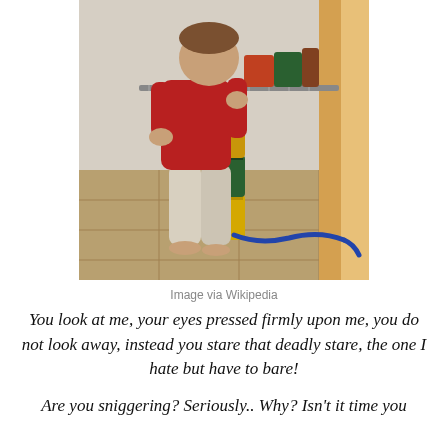[Figure (photo): A toddler in a red sweater and light gray sweatpants, barefoot, standing at a wire pantry shelf and stacking or handling canned goods. A blue leash or strap lies on the tiled floor nearby. A wooden shelf leg is visible on the right.]
Image via Wikipedia
You look at me, your eyes pressed firmly upon me, you do not look away, instead you stare that deadly stare, the one I hate but have to bare!
Are you sniggering? Seriously.. Why? Isn't it time you